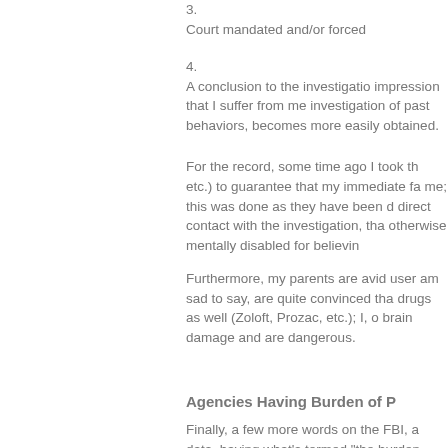3. Court mandated and/or forced
4. A conclusion to the investigation impression that I suffer from me investigation of past behaviors, becomes more easily obtained.
For the record, some time ago I took th etc.) to guarantee that my immediate fa me; this was done as they have been d direct contact with the investigation, tha otherwise mentally disabled for believin
Furthermore, my parents are avid user am sad to say, are quite convinced tha drugs as well (Zoloft, Prozac, etc.); I, o brain damage and are dangerous.
Agencies Having Burden of P
Finally, a few more words on the FBI, a data, having what's termed "the burden